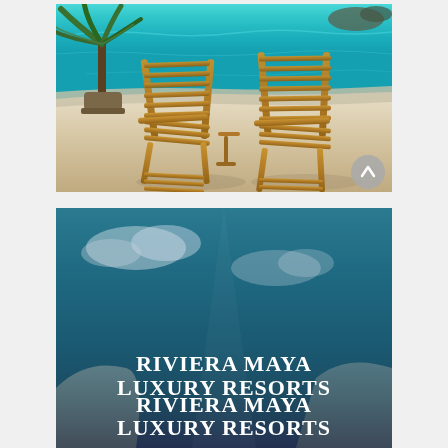[Figure (photo): Two wooden slatted beach lounge chairs on a white sandy terrace with turquoise Caribbean ocean in the background and a tropical plant on the left. A gray circular scroll-up button is visible in the bottom right corner of the photo.]
[Figure (photo): Dark teal/blue background image (sky and rock scenery) serving as the backdrop for a banner titled RIVIERA MAYA LUXURY RESORTS in large white serif bold text.]
RIVIERA MAYA LUXURY RESORTS